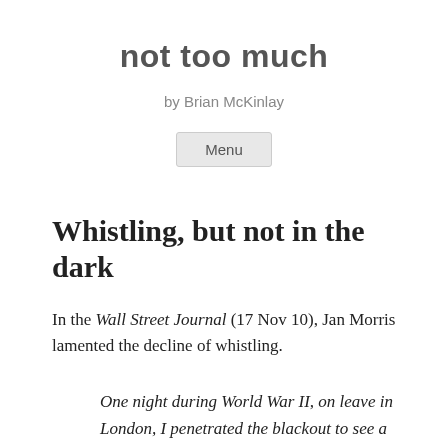not too much
by Brian McKinlay
Menu
Whistling, but not in the dark
In the Wall Street Journal (17 Nov 10), Jan Morris lamented the decline of whistling.
One night during World War II, on leave in London, I penetrated the blackout to see a show at the London Hippodrome called The Lisbon Story. I forget what it was about, I forget who was in it, but I still have at the back of my mind its theme tune, which was called